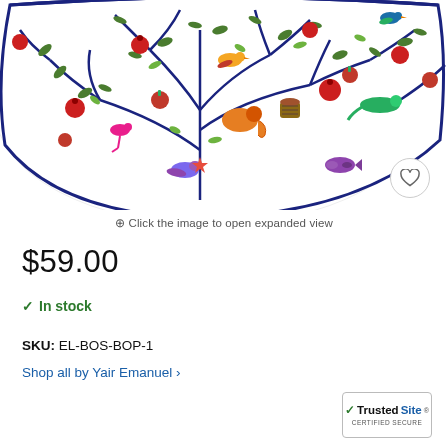[Figure (photo): A colorful decorative ceramic bowl viewed from above/side, featuring a whimsical folk-art pattern of a tree of life with pomegranates, birds, animals, and colorful foliage on a white background, with dark navy blue branches.]
⊕ Click the image to open expanded view
$59.00
✓ In stock
SKU: EL-BOS-BOP-1
Shop all by Yair Emanuel ›
[Figure (logo): TrustedSite Certified Secure badge]